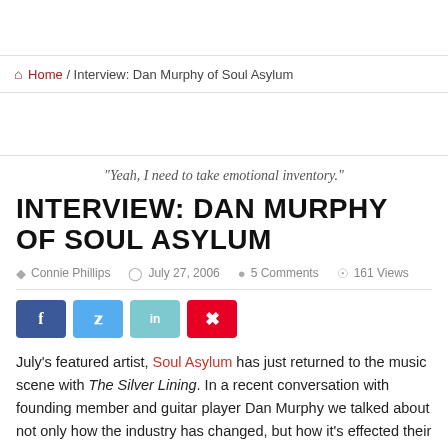Home / Interview: Dan Murphy of Soul Asylum
"Yeah, I need to take emotional inventory."
INTERVIEW: DAN MURPHY OF SOUL ASYLUM
Connie Phillips   July 27, 2006   5 Comments   161 Views
[Figure (other): Social sharing buttons: Facebook, Twitter, LinkedIn, Pinterest]
July's featured artist, Soul Asylum has just returned to the music scene with The Silver Lining. In a recent conversation with founding member and guitar player Dan Murphy we talked about not only how the industry has changed, but how it's effected their music as well as Karl Mueller's losing battle with throat cancer.